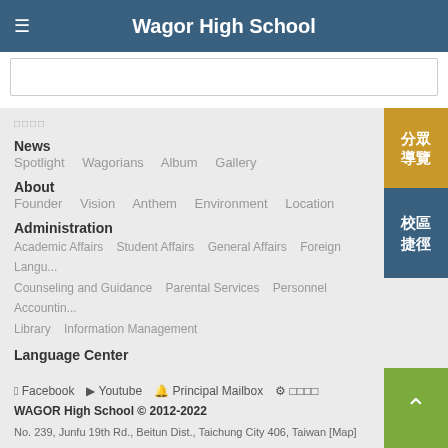Wagor High School
[Figure (screenshot): White input/search box area]
□□□□
News
Spotlight   Wagorians   Album   Gallery
About
Founder   Vision   Anthem   Environment   Location
Administration
Academic Affairs   Student Affairs   General Affairs   Foreign Language   Counseling and Guidance   Parental Services   Personnel   Accounting   Library   Information Management
Language Center
Facebook   Youtube   Principal Mailbox   □□□□
WAGOR High School © 2012-2022
No. 239, Junfu 19th Rd., Beitun Dist., Taichung City 406, Taiwan [Map]